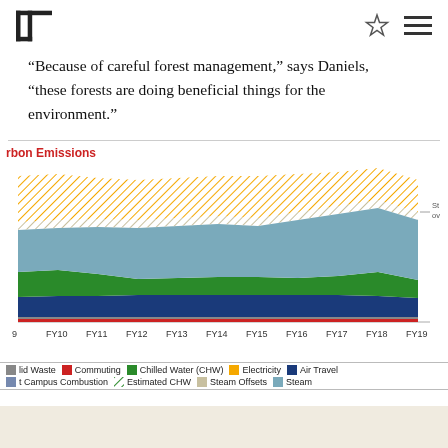[Logo] [Star icon] [Menu icon]
“Because of careful forest management,” says Daniels, “these forests are doing beneficial things for the environment.”
rbon Emissions
[Figure (area-chart): Stacked area chart showing carbon emissions by category from FY09 to FY19]